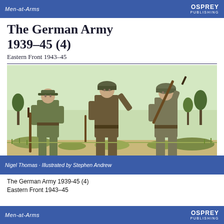Men-at-Arms | OSPREY PUBLISHING
The German Army 1939–45 (4)
Eastern Front 1943–45
[Figure (illustration): Three WWII German soldiers in field uniforms standing in a grassy landscape. Left soldier wears peaked cap and carries a rifle. Center soldier wears steel helmet and gestures with one hand. Right soldier wears steel helmet and carries a rifle over his shoulder.]
Nigel Thomas · Illustrated by Stephen Andrew
The German Army 1939-45 (4)
Eastern Front 1943–45
Men-at-Arms | OSPREY PUBLISHING